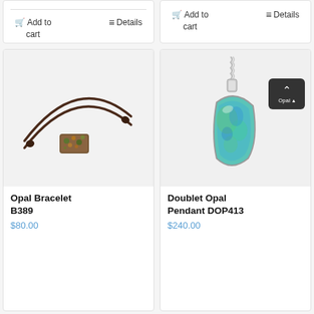[Figure (photo): Top partial product card stub with Add to cart and Details buttons, left column]
[Figure (photo): Top partial product card stub with Add to cart and Details buttons, right column]
[Figure (photo): Opal Bracelet B389 product image showing a brown leather cord bracelet with green opal stone]
Opal Bracelet B389
$80.00
[Figure (photo): Doublet Opal Pendant DOP413 product image showing a blue-green teardrop opal pendant on silver chain]
Doublet Opal Pendant DOP413
$240.00